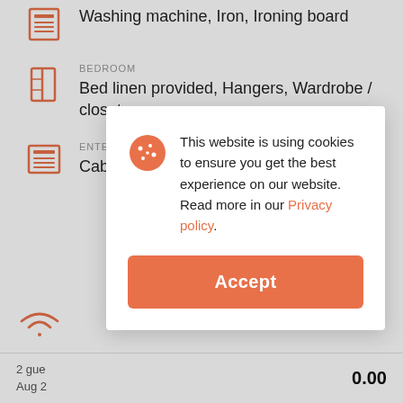Washing machine, Iron, Ironing board
BEDROOM
Bed linen provided, Hangers, Wardrobe / closet
ENTERTAINMENT SYSTEM
Cable TV, Flat screen TV
This website is using cookies to ensure you get the best experience on our website. Read more in our Privacy policy.
Accept
2 gue
Aug 2
0.00